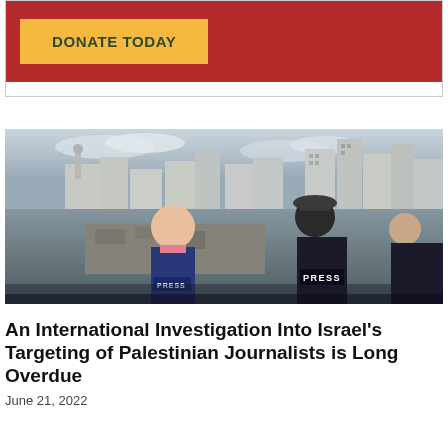[Figure (other): Red donation banner with yellow 'DONATE TODAY' button]
[Figure (photo): Two journalists wearing PRESS vests viewed from behind, overlooking a Middle Eastern city with buildings and rubble]
An International Investigation Into Israel's Targeting of Palestinian Journalists is Long Overdue
June 21, 2022